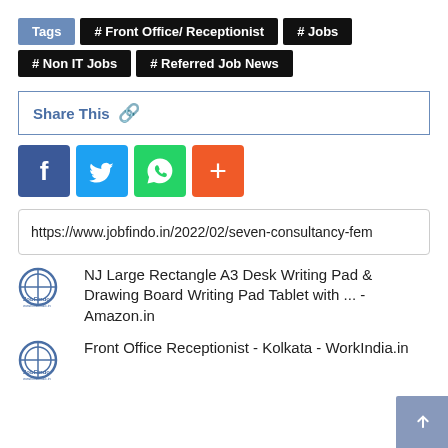Tags  # Front Office/ Receptionist  # Jobs  # Non IT Jobs  # Referred Job News
Share This
[Figure (other): Social share buttons: Facebook (blue), Twitter (light blue), WhatsApp (green), Add/More (orange-red)]
https://www.jobfindo.in/2022/02/seven-consultancy-fem
NJ Large Rectangle A3 Desk Writing Pad & Drawing Board Writing Pad Tablet with ... - Amazon.in
Front Office Receptionist - Kolkata - WorkIndia.in